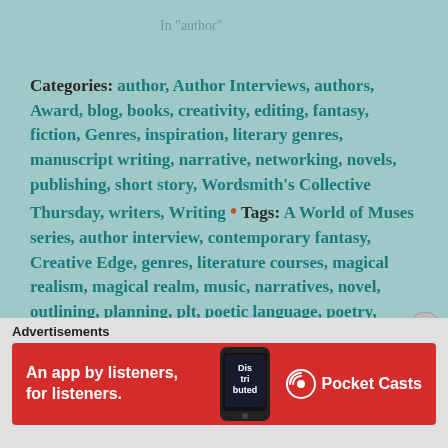In "author"
Categories: author, Author Interviews, authors, Award, blog, books, creativity, editing, fantasy, fiction, Genres, inspiration, literary genres, manuscript writing, narrative, networking, novels, publishing, short story, Wordsmith's Collective Thursday, writers, Writing • Tags: A World of Muses series, author interview, contemporary fantasy, Creative Edge, genres, literature courses, magical realism, magical realm, music, narratives, novel, outlining, planning, plt, poetic language, poetry, readers, Shane Wilson,
Advertisements
[Figure (infographic): Pocket Casts advertisement banner: red background, text 'An app by listeners, for listeners.' with Pocket Casts logo and phone image.]